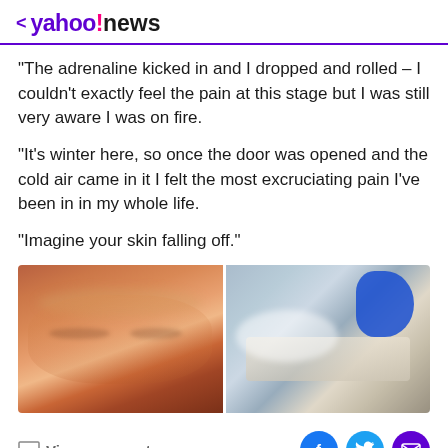< yahoo!news
“The adrenaline kicked in and I dropped and rolled – I couldn’t exactly feel the pain at this stage but I was still very aware I was on fire.
“It’s winter here, so once the door was opened and the cold air came in it I felt the most excruciating pain I’ve been in in my whole life.
“Imagine your skin falling off.”
[Figure (photo): Two side-by-side photos: left shows a person's severely burned face with swollen, red, peeling skin and closed eyes; right shows a bandaged patient in a hospital bed with a blue-gloved thumb raised and head wrapped in white bandages.]
View comments